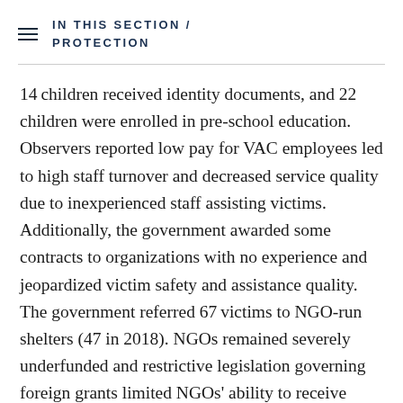IN THIS SECTION / PROTECTION
14 children received identity documents, and 22 children were enrolled in pre-school education. Observers reported low pay for VAC employees led to high staff turnover and decreased service quality due to inexperienced staff assisting victims. Additionally, the government awarded some contracts to organizations with no experience and jeopardized victim safety and assistance quality. The government referred 67 victims to NGO-run shelters (47 in 2018). NGOs remained severely underfunded and restrictive legislation governing foreign grants limited NGOs' ability to receive funding from foreign donors. Most NGO-run shelter staff who provided support services worked on